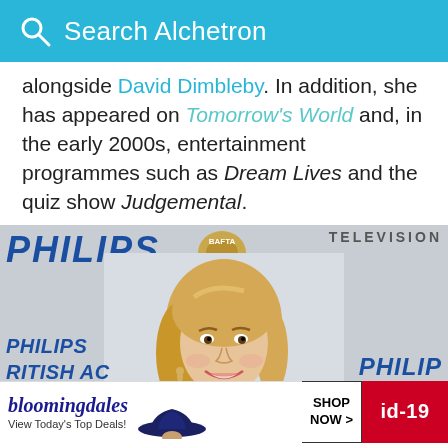Search Alchetron
alongside David Dimbleby. In addition, she has appeared on Tomorrow's World and, in the early 2000s, entertainment programmes such as Dream Lives and the quiz show Judgemental.
[Figure (photo): Blonde woman smiling at a Philips BAFTA Television event, with Philips branding visible on backdrop behind her]
bloomingdales View Today's Top Deals! SHOP NOW > id-19